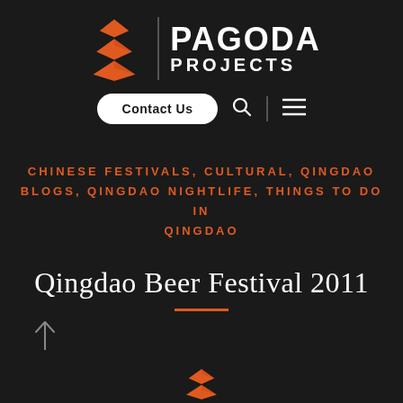[Figure (logo): Pagoda Projects logo with orange layered pagoda icon and white text reading PAGODA PROJECTS]
Contact Us
CHINESE FESTIVALS, CULTURAL, QINGDAO BLOGS, QINGDAO NIGHTLIFE, THINGS TO DO IN QINGDAO
Qingdao Beer Festival 2011
[Figure (logo): Partial Pagoda Projects orange logo icon visible at bottom of page]